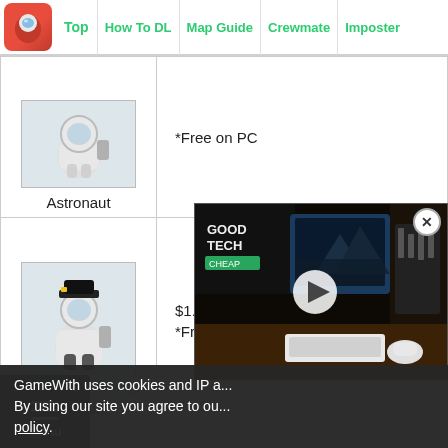Top | How To DL | Map Guide | Crewmate | Imposter
| Skin | Price |
| --- | --- |
| Astronaut | *Free on PC |
| Captain | $1.99 (Includes Hat)
*Free on PC |
| Mechanic | $1.99 (Includes Hat)
*Free on PC |
| (Soldier) | $1.99
*Free on PC |
[Figure (screenshot): Video overlay showing GoodTechCheap channel with a music studio/desk scene thumbnail and play button]
GameWith uses cookies and IP a...
By using our site you agree to ou...
policy.